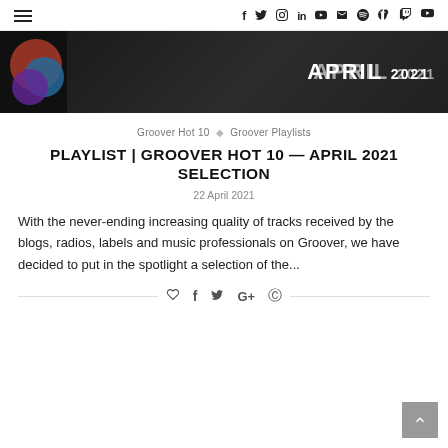≡ f 𝕏 ⊙ in ▶ ✉ ♫ 🎮 🔍
[Figure (photo): Hero banner image showing a person in black and white with colorful circular overlapping shapes on the left and text 'APRIL 2021' on the right in white on dark background]
Groover Hot 10 ◇ Groover Playlists
PLAYLIST | GROOVER HOT 10 — APRIL 2021 SELECTION
22 April 2021
With the never-ending increasing quality of tracks received by the blogs, radios, labels and music professionals on Groover, we have decided to put in the spotlight a selection of the...
♡ f 𝕏 G+ ⊕